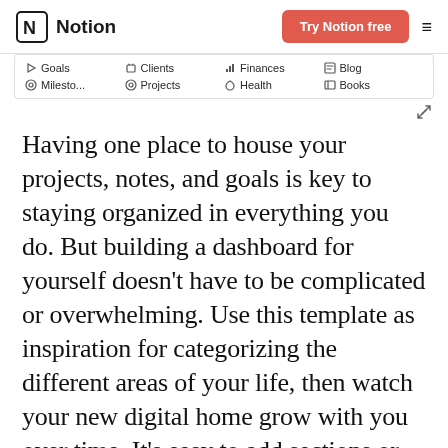Notion | Try Notion free
[Figure (screenshot): Notion app navigation panel showing links: Goals, Clients, Finances, Blog, Milesto..., Projects, Health, Books]
Having one place to house your projects, notes, and goals is key to staying organized in everything you do. But building a dashboard for yourself doesn't have to be complicated or overwhelming. Use this template as inspiration for categorizing the different areas of your life, then watch your new digital home grow with you over time. It's easy to add sections or subpages for your specific topics of interest too — that new knitting hobby of